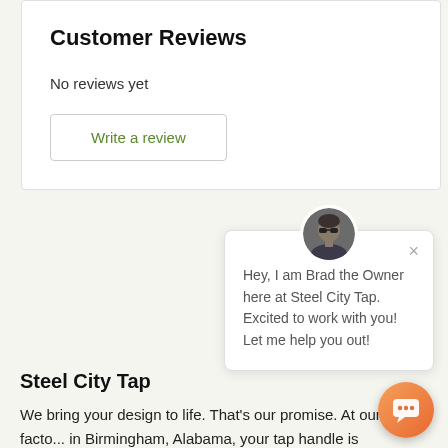Customer Reviews
No reviews yet
Write a review
[Figure (screenshot): Chat popup overlay with avatar photo of a man with sunglasses, close button (×), and message text: Hey, I am Brad the Owner here at Steel City Tap. Excited to work with you! Let me help you out!]
Steel City Tap
We bring your design to life. That's our promise. At our facto... in Birmingham, Alabama, your tap handle is transformed from a budding idea into a tangible marketing tool.
[Figure (other): Orange/red gradient chat icon button in bottom-right corner]